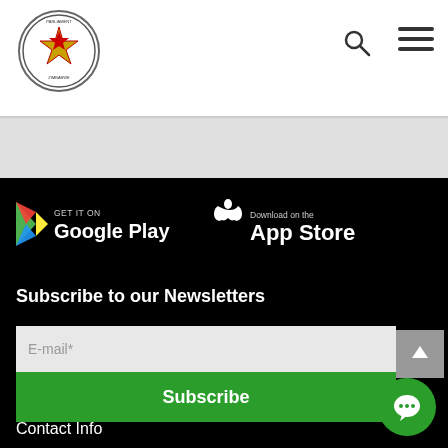[Figure (logo): Parliament of Zimbabwe circular logo with star emblem]
[Figure (illustration): Search icon (magnifying glass) in header]
[Figure (illustration): Hamburger menu icon (three horizontal lines) in header]
[Figure (illustration): Google Play store download button with play icon]
[Figure (illustration): Apple App Store download button with Apple logo]
Subscribe to our Newsletters
E-mail*
Subscribe
Contact Info